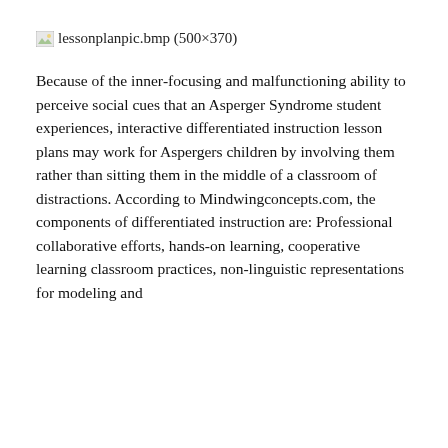[Figure (other): Broken image placeholder for lessonplanpic.bmp (500×370)]
Because of the inner-focusing and malfunctioning ability to perceive social cues that an Asperger Syndrome student experiences, interactive differentiated instruction lesson plans may work for Aspergers children by involving them rather than sitting them in the middle of a classroom of distractions. According to Mindwingconcepts.com, the components of differentiated instruction are: Professional collaborative efforts, hands-on learning, cooperative learning classroom practices, non-linguistic representations for modeling and